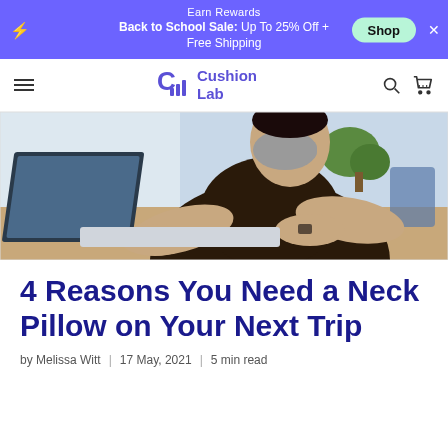Earn Rewards
Back to School Sale: Up To 25% Off + Free Shipping
Cushion Lab
[Figure (photo): Person wearing a mask typing on a laptop in an office environment with plants in the background]
4 Reasons You Need a Neck Pillow on Your Next Trip
by Melissa Witt | 17 May, 2021 | 5 min read